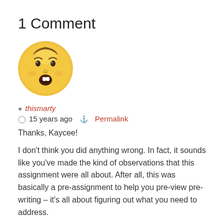1 Comment
[Figure (illustration): Circular avatar image of an emoji-style surprised/shocked face with yellow skin, wide open mouth, and raised eyebrows]
thismarty
15 years ago   Permalink
Thanks, Kaycee!
I don't think you did anything wrong. In fact, it sounds like you've made the kind of observations that this assignment were all about. After all, this was basically a pre-assignment to help you pre-view pre-writing – it's all about figuring out what you need to address.